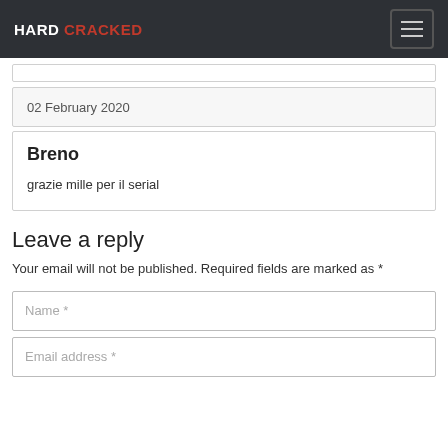HARD CRACKED
02 February 2020
Breno
grazie mille per il serial
Leave a reply
Your email will not be published. Required fields are marked as *
Name *
Email address *